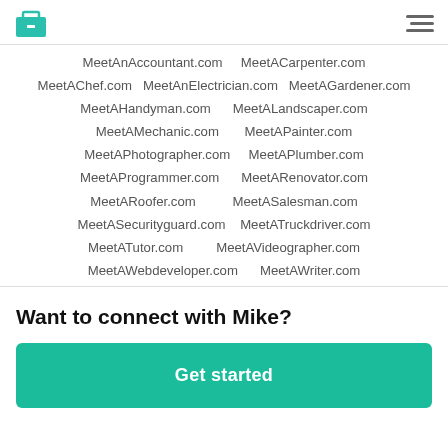[Logo] [Hamburger menu]
MeetAnAccountant.com  MeetACarpenter.com  MeetAChef.com  MeetAnElectrician.com  MeetAGardener.com  MeetAHandyman.com  MeetALandscaper.com  MeetAMechanic.com  MeetAPainter.com  MeetAPhotographer.com  MeetAPlumber.com  MeetAProgrammer.com  MeetARenovator.com  MeetARoofer.com  MeetASalesman.com  MeetASecurityguard.com  MeetATruckdriver.com  MeetATutor.com  MeetAVideographer.com  MeetAWebdeveloper.com  MeetAWriter.com
Want to connect with Mike?
Get started